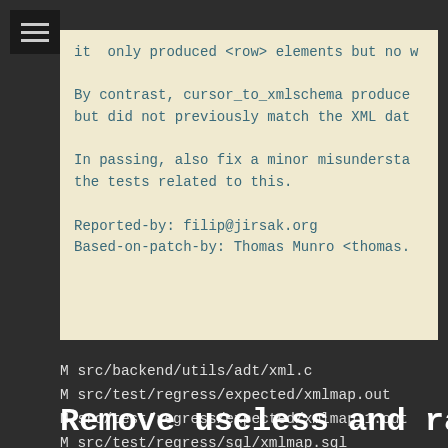[Figure (other): Hamburger menu icon (three horizontal lines) on dark background]
it  only produced <row> elements but no w

By contrast, cursor_to_xmlschema produce
but did not previously match the XML dat

In passing, also fix a minor misundersta
the tests related to this.

Reported-by: filip@jirsak.org
Based-on-patch-by: Thomas Munro <thomas.
M src/backend/utils/adt/xml.c
M src/test/regress/expected/xmlmap.out
M src/test/regress/expected/xmlmap_1.out
M src/test/regress/sql/xmlmap.sql
Remove useless and rather